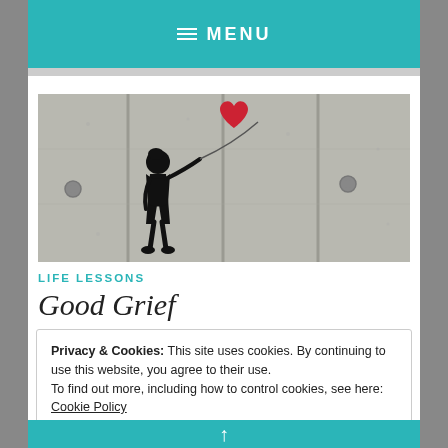≡ MENU
[Figure (photo): Banksy-style street art of a girl reaching toward a red heart-shaped balloon, painted on a concrete wall, black and white with the balloon in red.]
LIFE LESSONS
Good Grief
Privacy & Cookies: This site uses cookies. By continuing to use this website, you agree to their use.
To find out more, including how to control cookies, see here: Cookie Policy
Close and accept